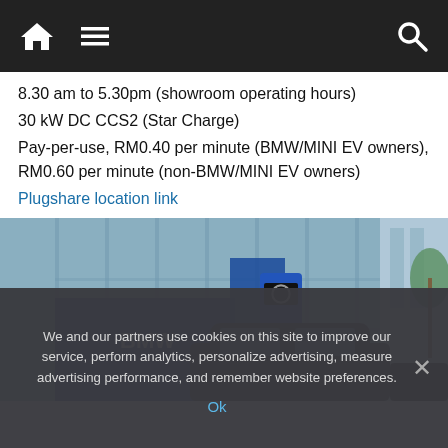Navigation bar with home, menu, and search icons
8.30 am to 5.30pm (showroom operating hours)
30 kW DC CCS2 (Star Charge)
Pay-per-use, RM0.40 per minute (BMW/MINI EV owners), RM0.60 per minute (non-BMW/MINI EV owners)
Plugshare location link
[Figure (photo): BMW EV charging station outside a BMW dealership showroom with blue charging unit and BMW branding visible]
We and our partners use cookies on this site to improve our service, perform analytics, personalize advertising, measure advertising performance, and remember website preferences.
Ok